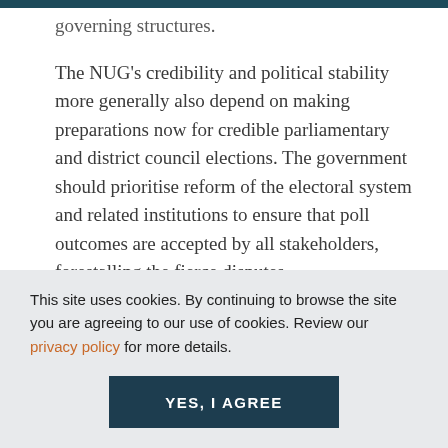governing structures.
The NUG's credibility and political stability more generally also depend on making preparations now for credible parliamentary and district council elections. The government should prioritise reform of the electoral system and related institutions to ensure that poll outcomes are accepted by all stakeholders, forestalling the fierce disputes
This site uses cookies. By continuing to browse the site you are agreeing to our use of cookies. Review our privacy policy for more details.
YES, I AGREE